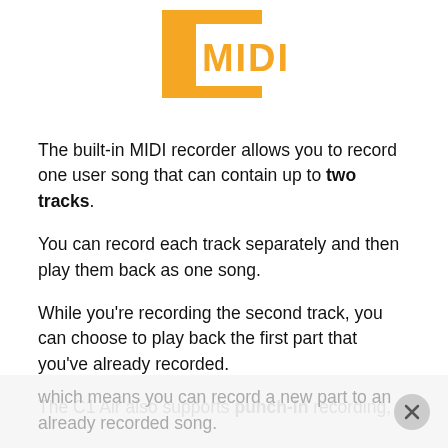[Figure (logo): MIDI logo: orange square background with white rectangle overlay containing orange bold text 'MIDI']
The built-in MIDI recorder allows you to record one user song that can contain up to two tracks.
You can record each track separately and then play them back as one song.
While you're recording the second track, you can choose to play back the first part that you've already recorded.
The C1 Air also supports punch-in recording, which means you can record a new part to an already recorded song.